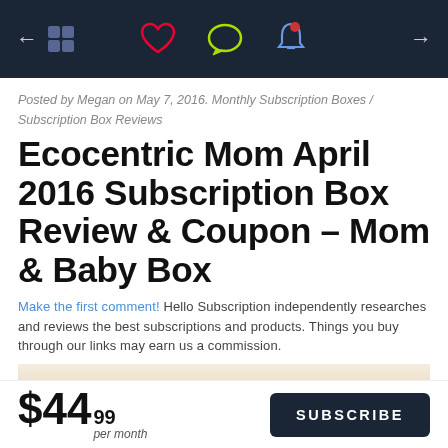Navigation bar with back arrow, heart icon, chat icon, bell icon, and forward arrow
Posted by Megan on May 7, 2016. Monthly Subscription Boxes / Subscription Box Reviews
Ecocentric Mom April 2016 Subscription Box Review & Coupon – Mom & Baby Box
Make the first comment! Hello Subscription independently researches and reviews the best subscriptions and products. Things you buy through our links may earn us a commission.
[Figure (photo): Close-up photo of a cardboard subscription box with pink cursive text visible at the bottom edge]
$44.99 per month
SUBSCRIBE